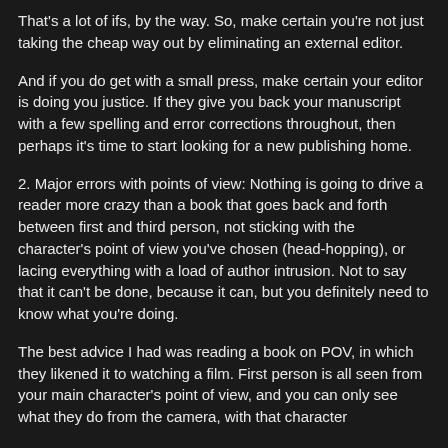That's a lot of ifs, by the way. So, make certain you're not just taking the cheap way out by eliminating an external editor.
And if you do get with a small press, make certain your editor is doing you justice. If they give you back your manuscript with a few spelling and error corrections throughout, then perhaps it's time to start looking for a new publishing home.
2. Major errors with points of view: Nothing is going to drive a reader more crazy than a book that goes back and forth between first and third person, not sticking with the character's point of view you've chosen (head-hopping), or lacing everything with a load of author intrusion. Not to say that it can't be done, because it can, but you definitely need to know what you're doing.
The best advice I had was reading a book on POV, in which they likened it to watching a film. First person is all seen from your main character's point of view, and you can only see what they do from the camera, with that character